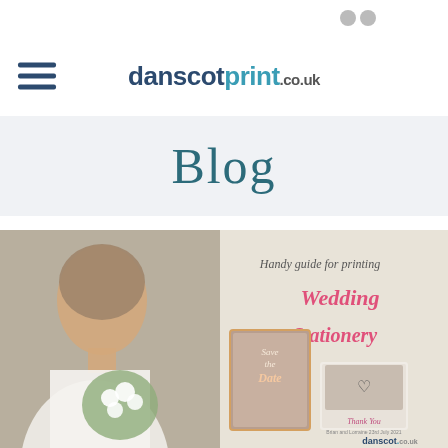danscotprint.co.uk
Blog
[Figure (photo): Wedding stationery blog post image featuring a bride holding a bouquet on the left, a 'Save the Date' card in the center, a couple making a heart shape with their hands, and text reading 'Handy guide for printing Wedding Stationery' with 'Thank You' card and danscot.co.uk logo.]